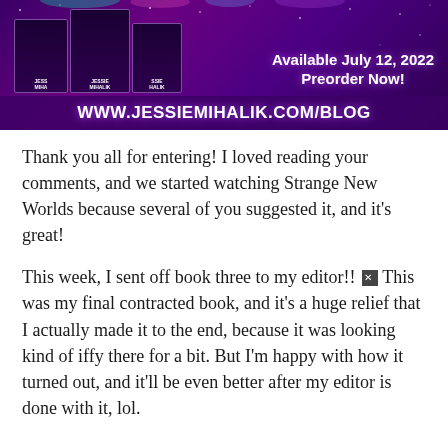[Figure (illustration): Purple/violet banner for Jessie Mihalik book promotion showing three book covers on the left, 'Available July 12, 2022 Preorder Now!' text on the right, and 'WWW.JESSIEMIHALIK.COM/BLOG' in large white bold text along the bottom bar.]
Thank you all for entering! I loved reading your comments, and we started watching Strange New Worlds because several of you suggested it, and it's great!
This week, I sent off book three to my editor!! [emoji] This was my final contracted book, and it's a huge relief that I actually made it to the end, because it was looking kind of iffy there for a bit. But I'm happy with how it turned out, and it'll be even better after my editor is done with it, lol.